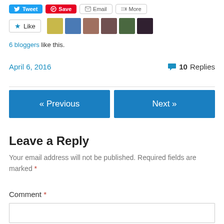[Figure (screenshot): Social sharing buttons: Tweet (blue), Save (red Pinterest), Email, More]
[Figure (screenshot): Like button with star icon followed by 6 blogger avatar thumbnails]
6 bloggers like this.
April 6, 2016
10 Replies
[Figure (screenshot): Navigation buttons: « Previous (blue) and Next » (blue)]
Leave a Reply
Your email address will not be published. Required fields are marked *
Comment *